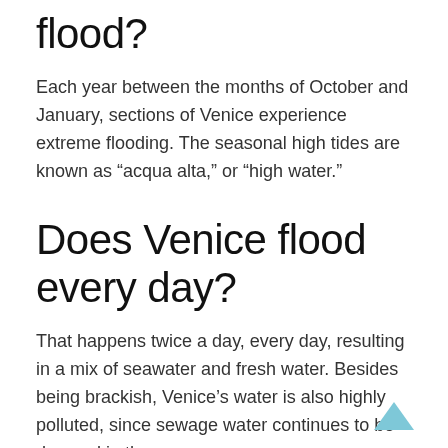flood?
Each year between the months of October and January, sections of Venice experience extreme flooding. The seasonal high tides are known as “acqua alta,” or “high water.”
Does Venice flood every day?
That happens twice a day, every day, resulting in a mix of seawater and fresh water. Besides being brackish, Venice’s water is also highly polluted, since sewage water continues to be dumped in the